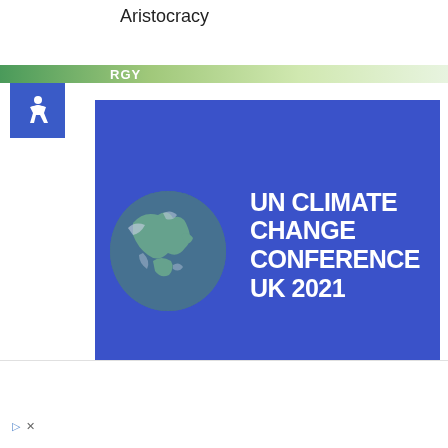Aristocracy
[Figure (logo): UN Climate Change Conference UK 2021 banner with globe illustration on blue background]
UN Climate change summit 2021 full-detail report
[Figure (photo): Partial image visible at bottom of card area, appears to show a crowd or architectural detail in black and white]
In-store shopping